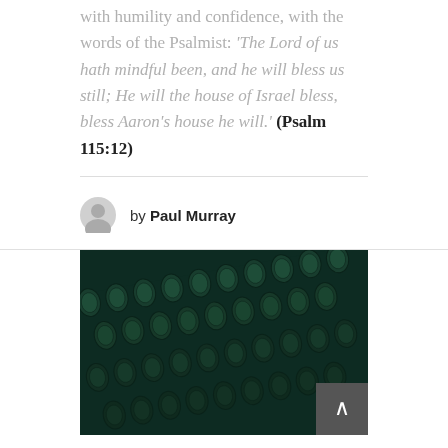with humility and confidence, with the words of the Psalmist: 'The Lord of us hath mindful been, and he will bless us still; He will the house of Israel bless, bless Aaron's house he will.' (Psalm 115:12)
by Paul Murray
[Figure (photo): Close-up photograph of vintage typewriter keys with a dark green tint/filter]